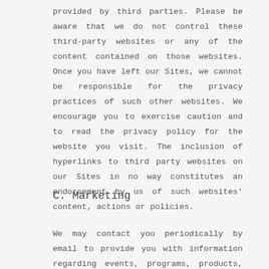provided by third parties. Please be aware that we do not control these third-party websites or any of the content contained on those websites. Once you have left our Sites, we cannot be responsible for the privacy practices of such other websites. We encourage you to exercise caution and to read the privacy policy for the website you visit. The inclusion of hyperlinks to third party websites on our Sites in no way constitutes an endorsement by us of such websites' content, actions or policies.
C. Marketing
We may contact you periodically by email to provide you with information regarding events, programs, products, services and content that may be of